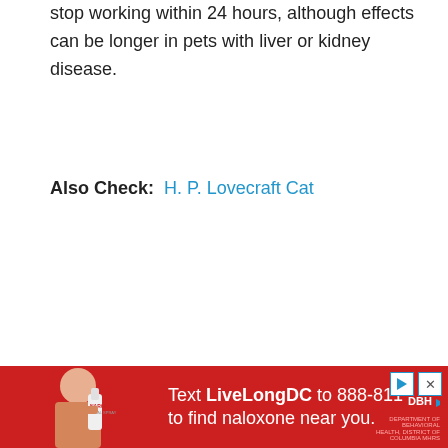stop working within 24 hours, although effects can be longer in pets with liver or kidney disease.
Also Check: H. P. Lovecraft Cat
[Figure (infographic): Red advertisement banner: Text LiveLongDC to 888-811 to find naloxone near you. Features a person holding a naloxone nasal spray, play button icon, close button icon, and DBH logo.]